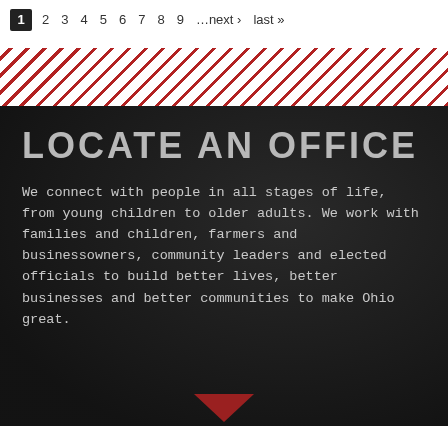1 2 3 4 5 6 7 8 9 …next › last »
[Figure (other): Diagonal red and white stripe decorative band]
LOCATE AN OFFICE
We connect with people in all stages of life, from young children to older adults. We work with families and children, farmers and businessowners, community leaders and elected officials to build better lives, better businesses and better communities to make Ohio great.